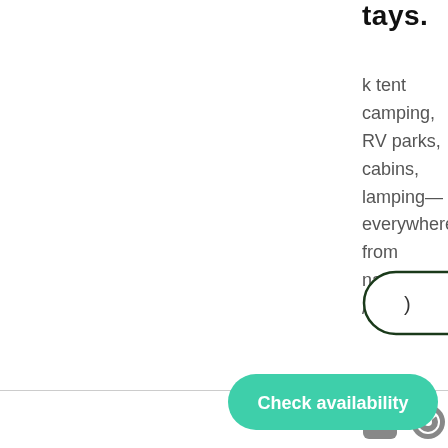tays.
k tent camping, RV parks, cabins, lamping—everywhere from national / farms.
[Figure (other): Dropdown button with dark green border, partially visible, containing a chevron down arrow]
[Figure (other): Social media icons: YouTube and Spotify in grey]
Privacy Policy
c. All rights reserved.
[Figure (other): Black horizontal bar/banner]
[Figure (other): Green rounded button with white text: Check availability]